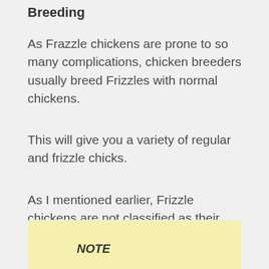Breeding
As Frazzle chickens are prone to so many complications, chicken breeders usually breed Frizzles with normal chickens.
This will give you a variety of regular and frizzle chicks.
As I mentioned earlier, Frizzle chickens are not classified as their own breed in the United States.
NOTE